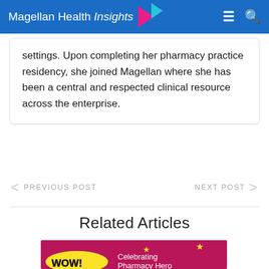Magellan Health Insights
settings. Upon completing her pharmacy practice residency, she joined Magellan where she has been a central and respected clinical resource across the enterprise.
< PREVIOUS POST
NEXT POST >
Related Articles
[Figure (photo): Magenta/pink comic-style promotional image with 'WOW!' speech bubble in yellow and text 'Celebrating Pharmacy Hero' in white on pink background with stars]